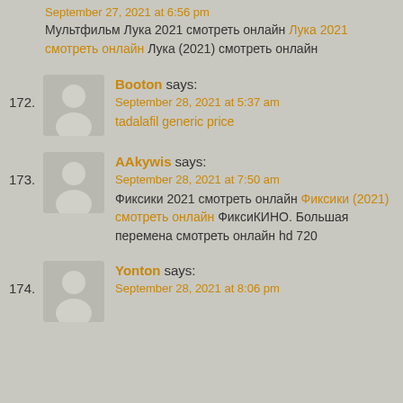September 27, 2021 at 6:56 pm
Мультфильм Лука 2021 смотреть онлайн Лука 2021 смотреть онлайн Лука (2021) смотреть онлайн
172. Booton says:
September 28, 2021 at 5:37 am
tadalafil generic price
173. AAkywis says:
September 28, 2021 at 7:50 am
Фиксики 2021 смотреть онлайн Фиксики (2021) смотреть онлайн ФиксиКИНО. Большая перемена смотреть онлайн hd 720
174. Yonton says:
September 28, 2021 at 8:06 pm